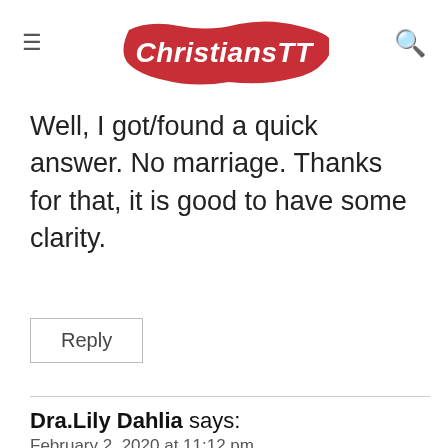ChristiansTT
Well, I got/found a quick answer. No marriage. Thanks for that, it is good to have some clarity.
Reply
Dra.Lily Dahlia says:
February 2, 2020 at 11:12 pm
My dear Lord Jesus Christ,